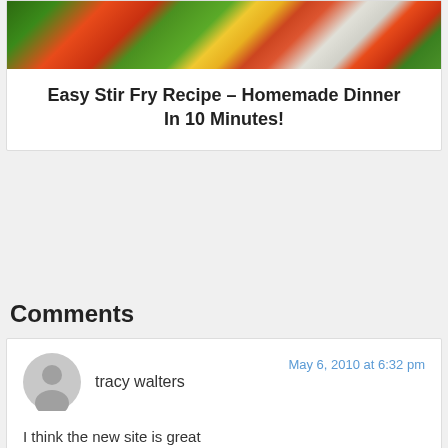[Figure (photo): Photo of colorful stir fry vegetables including broccoli, red peppers, and cauliflower]
Easy Stir Fry Recipe – Homemade Dinner In 10 Minutes!
Comments
tracy walters
May 6, 2010 at 6:32 pm
I think the new site is great
I had a plant question Im growing herbs from the seeds and I have them in plastic contains from milk jugs cut down and they are under my skylight on my dresser